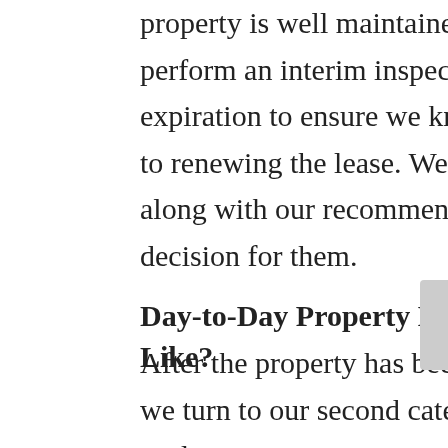property is well maintained. At Arbors, our leasing specialists perform an interim inspection several months prior to the lease expiration to ensure we know the condition of the property prior to renewing the lease. We share that inspection with our clients along with our recommendations so they can make the best decision for them.
Day-to-Day Property Management – What Does it Look Like?
After the property has been leased and the resident has moved in, we turn to our second category of property management: the day-to-day management.
Perhaps one of the most important items a property manager can do is collect the